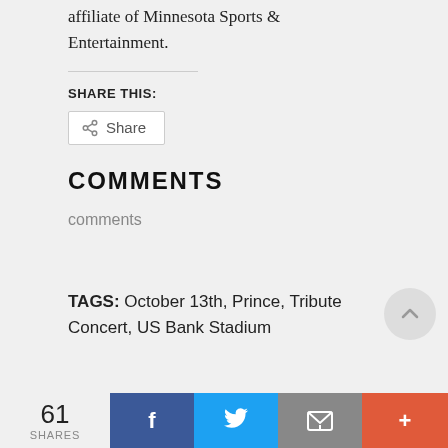affiliate of Minnesota Sports & Entertainment.
SHARE THIS:
Share
COMMENTS
comments
TAGS: October 13th, Prince, Tribute Concert, US Bank Stadium
61 SHARES | Facebook | Twitter | Email | More